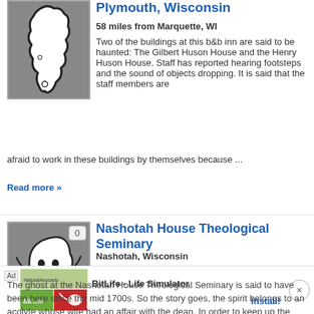[Figure (illustration): Ghost/map silhouette illustration on gray background]
Plymouth, Wisconsin
58 miles from Marquette, WI
Two of the buildings at this b&b inn are said to be haunted: The Gilbert Huson House and the Henry Huson House. Staff has reported hearing footsteps and the sound of objects dropping. It is said that the staff members are afraid to work in these buildings by themselves because ...
Read more »
[Figure (illustration): Cartoon ghost illustration on gray background with counter badge showing 0]
Nashotah House Theological Seminary
Nashotah, Wisconsin
58.2 miles from Marquette, WI
The ghost at the Nashotah House Theological Seminary is said to have been here since the mid 1700s. So the story goes, the spirit belongs to an acolyte whose wife had an affair with the dean. In order to keep up the adulte...
Read m...
Ad - BitLife - Life Simulator - Install!